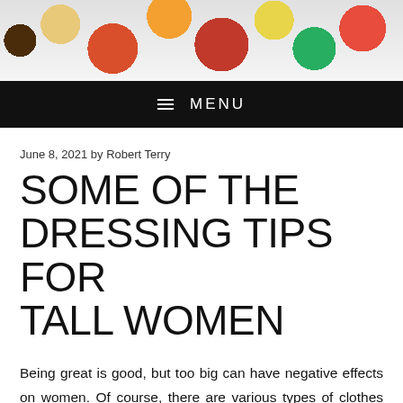[Figure (photo): Food photography banner showing various dishes including bowls and plates of colorful food spread across a white background]
≡ MENU
June 8, 2021 by Robert Terry
SOME OF THE DRESSING TIPS FOR TALL WOMEN
Being great is good, but too big can have negative effects on women. Of course, there are various types of clothes available for all types of bodies, and adhering to these will make you look the